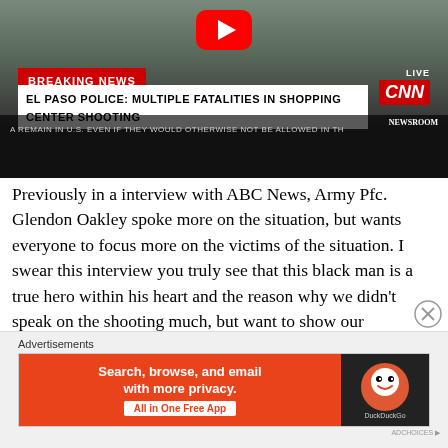[Figure (screenshot): CNN Breaking News screenshot showing headline: EL PASO POLICE: MULTIPLE FATALITIES IN SHOPPING CENTER SHOOTING. YouTube play button overlay visible at top. Breaking News red bar, LIVE label, CNN logo, and ticker text visible.]
Previously in a interview with ABC News, Army Pfc. Glendon Oakley spoke more on the situation, but wants everyone to focus more on the victims of the situation. I swear this interview you truly see that this black man is a true hero within his heart and the reason why we didn't speak on the shooting much, but want to show our appreciation for heroes like Oakley.
[Figure (screenshot): DuckDuckGo advertisement banner: Search, browse, and email with more privacy. All in One Free App]